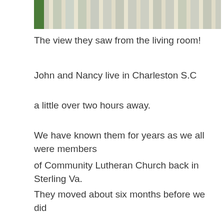[Figure (photo): Bottom portion of a photo showing white railing/balcony with a green element on the left, viewed from a living room]
The view they saw from the living room!
John and Nancy live in Charleston S.C
a little over two hours away.
We have known them for years as we all were members
of Community Lutheran Church back in Sterling Va.
They moved about six months before we did
and we visited them a year ago on our return trip from Florida.